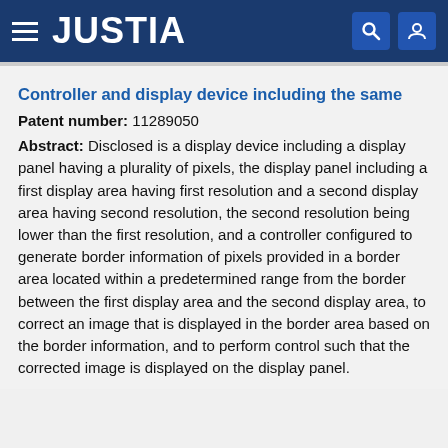JUSTIA
Controller and display device including the same
Patent number: 11289050
Abstract: Disclosed is a display device including a display panel having a plurality of pixels, the display panel including a first display area having first resolution and a second display area having second resolution, the second resolution being lower than the first resolution, and a controller configured to generate border information of pixels provided in a border area located within a predetermined range from the border between the first display area and the second display area, to correct an image that is displayed in the border area based on the border information, and to perform control such that the corrected image is displayed on the display panel.